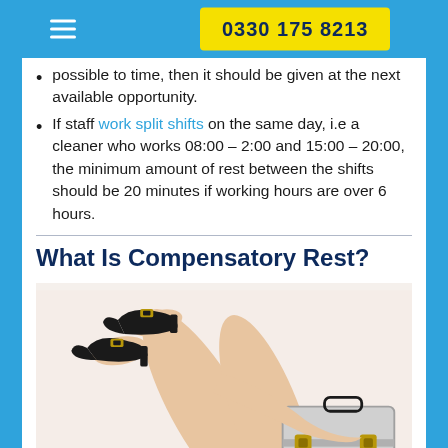0330 175 8213
possible to time, then it should be given at the next available opportunity.
If staff work split shifts on the same day, i.e a cleaner who works 08:00 – 2:00 and 15:00 – 20:00, the minimum amount of rest between the shifts should be 20 minutes if working hours are over 6 hours.
What Is Compensatory Rest?
[Figure (photo): A person resting with legs raised up on a briefcase/luggage, wearing black pointed heels, white background.]